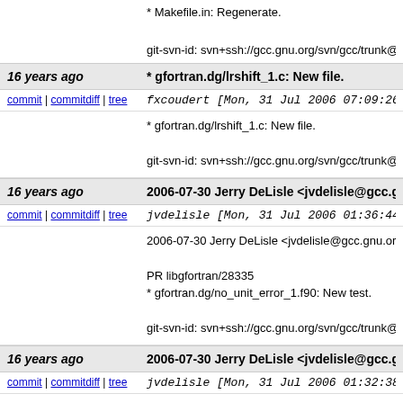* Makefile.in: Regenerate.
git-svn-id: svn+ssh://gcc.gnu.org/svn/gcc/trunk@1
16 years ago  * gfortran.dg/lrshift_1.c: New file.
commit | commitdiff | tree  fxcoudert [Mon, 31 Jul 2006 07:09:26 +00
* gfortran.dg/lrshift_1.c: New file.
git-svn-id: svn+ssh://gcc.gnu.org/svn/gcc/trunk@1
16 years ago  2006-07-30 Jerry DeLisle <jvdelisle@gcc.gnu.o
commit | commitdiff | tree  jvdelisle [Mon, 31 Jul 2006 01:36:44 +00
2006-07-30 Jerry DeLisle <jvdelisle@gcc.gnu.org
PR libgfortran/28335
* gfortran.dg/no_unit_error_1.f90: New test.
git-svn-id: svn+ssh://gcc.gnu.org/svn/gcc/trunk@1
16 years ago  2006-07-30 Jerry DeLisle <jvdelisle@gcc.gnu.o
commit | commitdiff | tree  jvdelisle [Mon, 31 Jul 2006 01:32:38 +00
2006-07-30 Jerry DeLisle <jvdelisle@gcc.gnu.org